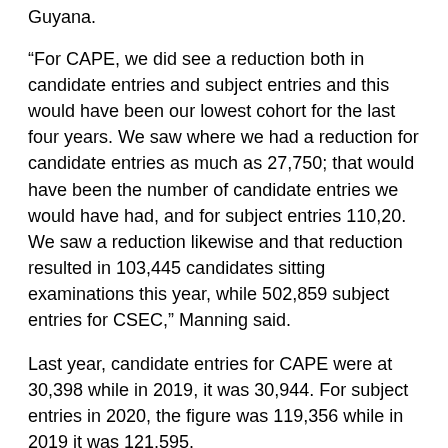Guyana.
“For CAPE, we did see a reduction both in candidate entries and subject entries and this would have been our lowest cohort for the last four years. We saw where we had a reduction for candidate entries as much as 27,750; that would have been the number of candidate entries we would have had, and for subject entries 110,20. We saw a reduction likewise and that reduction resulted in 103,445 candidates sitting examinations this year, while 502,859 subject entries for CSEC,” Manning said.
Last year, candidate entries for CAPE were at 30,398 while in 2019, it was 30,944. For subject entries in 2020, the figure was 119,356 while in 2019 it was 121,595.
Meanwhile, for CSEC, there were 122,248 candidate entries in